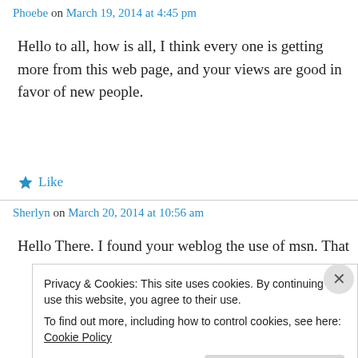Phoebe on March 19, 2014 at 4:45 pm
Hello to all, how is all, I think every one is getting more from this web page, and your views are good in favor of new people.
★ Like
Sherlyn on March 20, 2014 at 10:56 am
Hello There. I found your weblog the use of msn. That
Privacy & Cookies: This site uses cookies. By continuing to use this website, you agree to their use.
To find out more, including how to control cookies, see here: Cookie Policy
Close and accept